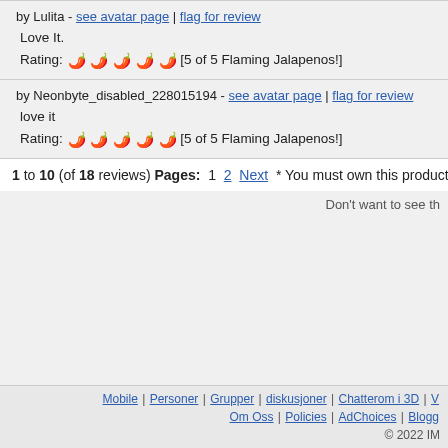by Lulita - see avatar page | flag for review
Love It.
Rating: [5 of 5 Flaming Jalapenos!]
by Neonbyte_disabled_228015194 - see avatar page | flag for review
love it
Rating: [5 of 5 Flaming Jalapenos!]
1 to 10 (of 18 reviews) Pages: 1  2  Next  * You must own this product to wr
Don't want to see th
Mobile | Personer | Grupper | diskusjoner | Chatterom i 3D | V | Om Oss | Policies | AdChoices | Blogg | © 2022 IM